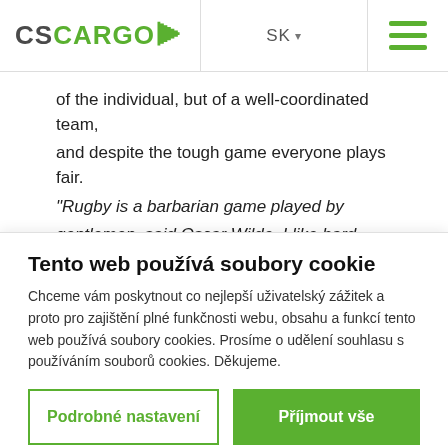[Figure (logo): CS CARGO logo with green accent, SK language selector and hamburger menu]
of the individual, but of a well-coordinated team, and despite the tough game everyone plays fair. "Rugby is a barbarian game played by gentlemen, said Oscar Wilde. I like hard sport where there is no place for fouls and filmed falls.
Tento web používá soubory cookie
Chceme vám poskytnout co nejlepší uživatelský zážitek a proto pro zajištění plné funkčnosti webu, obsahu a funkcí tento web používá soubory cookies. Prosíme o udělení souhlasu s používáním souborů cookies. Děkujeme.
Podrobné nastavení
Příjmout vše